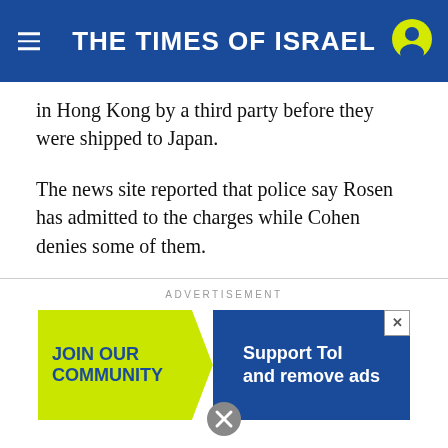THE TIMES OF ISRAEL
in Hong Kong by a third party before they were shipped to Japan.
The news site reported that police say Rosen has admitted to the charges while Cohen denies some of them.
[Figure (infographic): Advertisement banner: yellow left panel with 'JOIN OUR COMMUNITY' text in blue, and dark blue right panel reading 'Support ToI and remove ads']